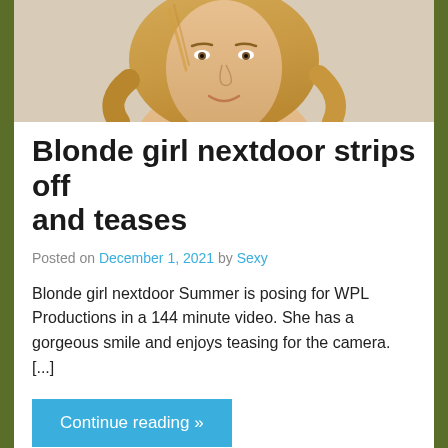[Figure (photo): Cropped photo of a blonde woman from the shoulders up, close-up selfie style]
Blonde girl nextdoor strips off and teases
Posted on December 1, 2021 by Sexy
Blonde girl nextdoor Summer is posing for WPL Productions in a 144 minute video. She has a gorgeous smile and enjoys teasing for the camera. [...]
Continue reading »
Blonde, Girl Nextdoor, Northwest Beauties, Sexy, Strip, Tease   0